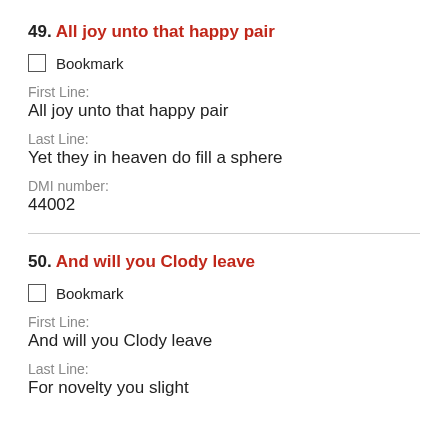49. All joy unto that happy pair
Bookmark
First Line:
All joy unto that happy pair
Last Line:
Yet they in heaven do fill a sphere
DMI number:
44002
50. And will you Clody leave
Bookmark
First Line:
And will you Clody leave
Last Line:
For novelty you slight